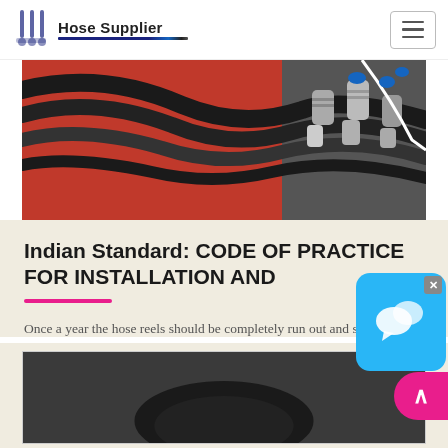Hose Supplier
[Figure (photo): Photograph of hydraulic hoses and metal fittings/couplings on a red background]
Indian Standard: CODE OF PRACTICE FOR INSTALLATION AND
Once a year the hose reels should be completely run out and subjected to operational water pressure to ensure that the hose is in good condition and that the coupling joints...
[Figure (photo): Partial view of a second article card with a dark image beginning to show]